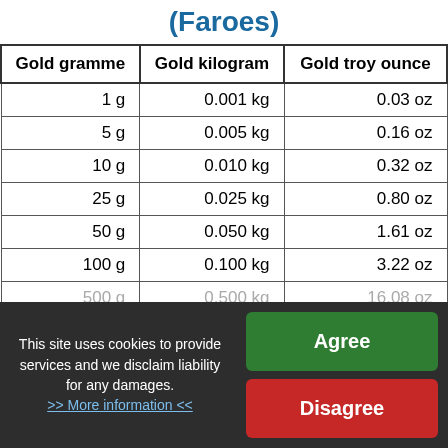(Faroes)
| Gold gramme | Gold kilogram | Gold troy ounce |
| --- | --- | --- |
| 1 g | 0.001 kg | 0.03 oz |
| 5 g | 0.005 kg | 0.16 oz |
| 10 g | 0.010 kg | 0.32 oz |
| 25 g | 0.025 kg | 0.80 oz |
| 50 g | 0.050 kg | 1.61 oz |
| 100 g | 0.100 kg | 3.22 oz |
| 500 g | 0.500 kg | 16.08 oz |
This site uses cookies to provide services and we disclaim liability for any damages. >> More information <<